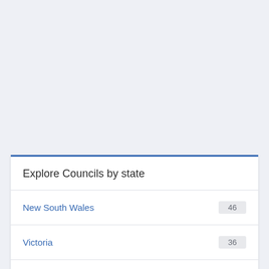Explore Councils by state
New South Wales 46
Victoria 36
Queensland 30